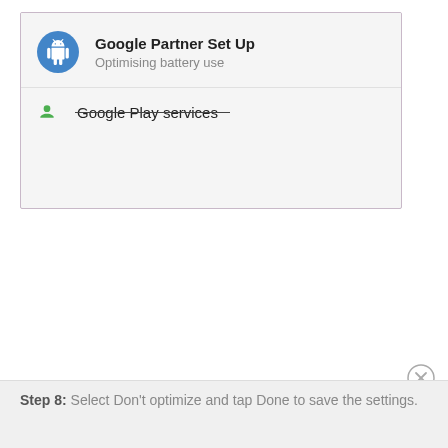[Figure (screenshot): Android settings screenshot showing two app rows: 'Google Partner Set Up' with subtitle 'Optimising battery use' and a blue Android icon, and a partially visible 'Google Play services' row with a green icon and strikethrough line across the text. An X close button appears at bottom right.]
Step 8: Select Don't optimize and tap Done to save the settings.